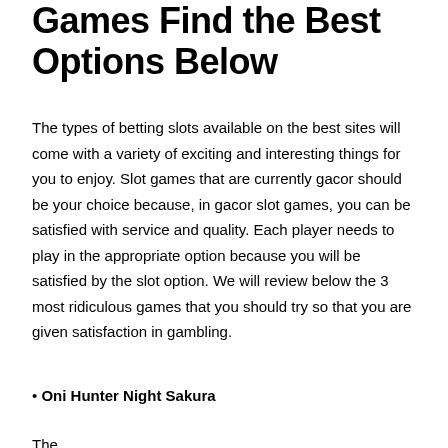Games Find the Best Options Below
The types of betting slots available on the best sites will come with a variety of exciting and interesting things for you to enjoy. Slot games that are currently gacor should be your choice because, in gacor slot games, you can be satisfied with service and quality. Each player needs to play in the appropriate option because you will be satisfied by the slot option. We will review below the 3 most ridiculous games that you should try so that you are given satisfaction in gambling.
• Oni Hunter Night Sakura
The...